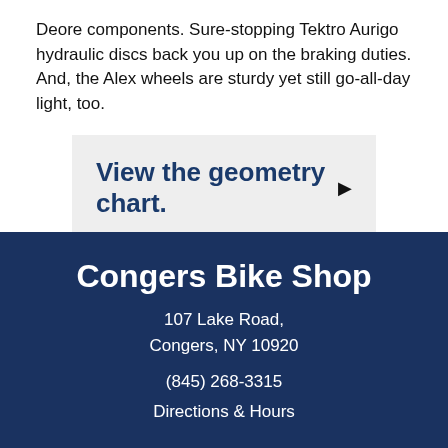Deore components. Sure-stopping Tektro Aurigo hydraulic discs back you up on the braking duties. And, the Alex wheels are sturdy yet still go-all-day light, too.
View the geometry chart.
Congers Bike Shop
107 Lake Road,
Congers, NY 10920
(845) 268-3315
Directions & Hours